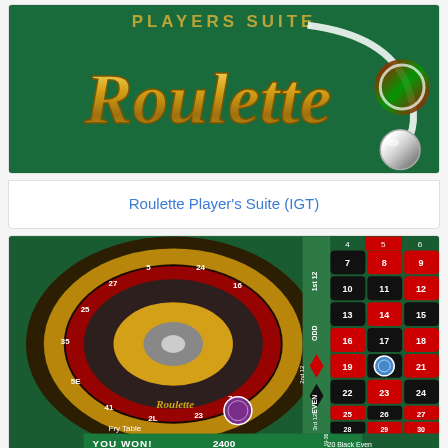[Figure (screenshot): Roulette Player's Suite IGT game logo on green background with golden script 'Roulette' text and a roulette ball]
Roulette Player’s Suite (IGT)
[Figure (screenshot): Roulette table gameplay screenshot showing spinning wheel, betting layout with numbers 7-36, red and black chips, and 'YOU WON! 2400' text at bottom]